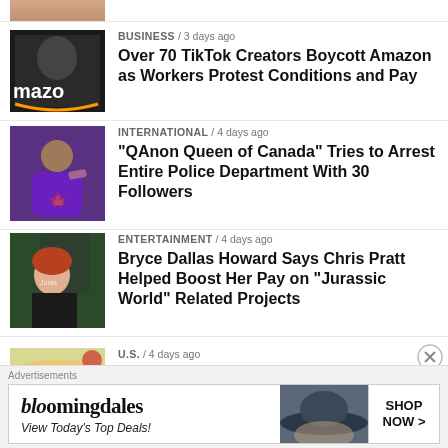[Figure (photo): Partial top thumbnail, cropped]
BUSINESS / 3 days ago
Over 70 TikTok Creators Boycott Amazon as Workers Protest Conditions and Pay
INTERNATIONAL / 4 days ago
“QAnon Queen of Canada” Tries to Arrest Entire Police Department With 30 Followers
ENTERTAINMENT / 4 days ago
Bryce Dallas Howard Says Chris Pratt Helped Boost Her Pay on “Jurassic World” Related Projects
U.S. / 4 days ago
Families Face Rising Costs for School Meals As Federal Program Expires
[Figure (other): Bloomingdales advertisement banner: View Today's Top Deals! SHOP NOW >]